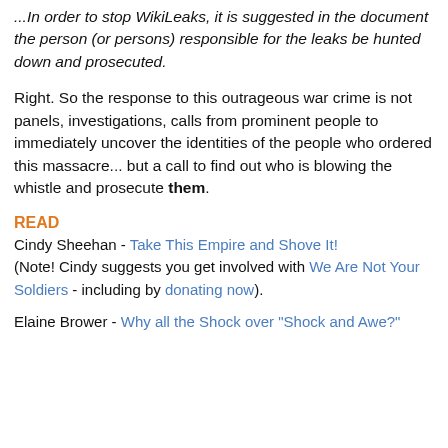...In order to stop WikiLeaks, it is suggested in the document the person (or persons) responsible for the leaks be hunted down and prosecuted.
Right. So the response to this outrageous war crime is not panels, investigations, calls from prominent people to immediately uncover the identities of the people who ordered this massacre... but a call to find out who is blowing the whistle and prosecute them.
READ
Cindy Sheehan - Take This Empire and Shove It! (Note! Cindy suggests you get involved with We Are Not Your Soldiers - including by donating now).
Elaine Brower - Why all the Shock over "Shock and Awe?"